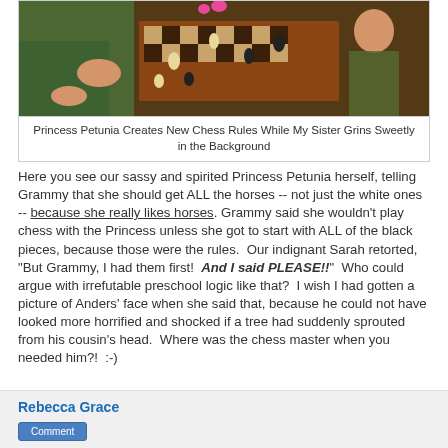[Figure (photo): A child (Princess Petunia) playing chess at a wooden chess board with pieces arranged, with another person smiling in the background]
Princess Petunia Creates New Chess Rules While My Sister Grins Sweetly in the Background
Here you see our sassy and spirited Princess Petunia herself, telling Grammy that she should get ALL the horses -- not just the white ones -- because she really likes horses. Grammy said she wouldn't play chess with the Princess unless she got to start with ALL of the black pieces, because those were the rules.  Our indignant Sarah retorted, "But Grammy, I had them first!  And I said PLEASE!!"  Who could argue with irrefutable preschool logic like that?  I wish I had gotten a picture of Anders' face when she said that, because he could not have looked more horrified and shocked if a tree had suddenly sprouted from his cousin's head.  Where was the chess master when you needed him?!  :-)
Rebecca Grace